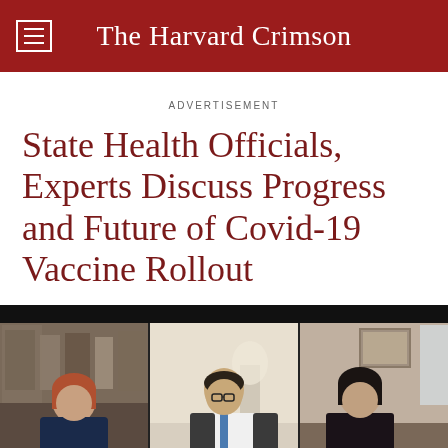The Harvard Crimson
ADVERTISEMENT
State Health Officials, Experts Discuss Progress and Future of Covid-19 Vaccine Rollout
[Figure (photo): Video conference screenshot showing three participants in separate panels against a dark background: a woman with red hair on the left, a man in a suit with blue tie in the center, and a woman with dark hair on the right, each appearing to be in their respective home or office settings.]